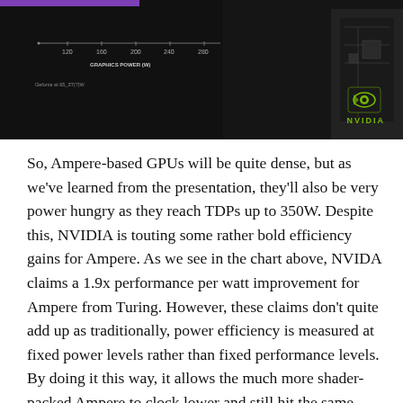[Figure (screenshot): Dark header image showing an NVIDIA chart about graphics power efficiency (Ampere vs Turing), with NVIDIA logo in bottom right corner]
So, Ampere-based GPUs will be quite dense, but as we've learned from the presentation, they'll also be very power hungry as they reach TDPs up to 350W. Despite this, NVIDIA is touting some rather bold efficiency gains for Ampere. As we see in the chart above, NVIDA claims a 1.9x performance per watt improvement for Ampere from Turing. However, these claims don't quite add up as traditionally, power efficiency is measured at fixed power levels rather than fixed performance levels. By doing it this way, it allows the much more shader-packed Ampere to clock lower and still hit the same performance targets as Turing. It's sort of like comparing gas mileage between two cars, but one of them has a hole in the tank.
While these numbers will show an efficiency advantage, Turing...